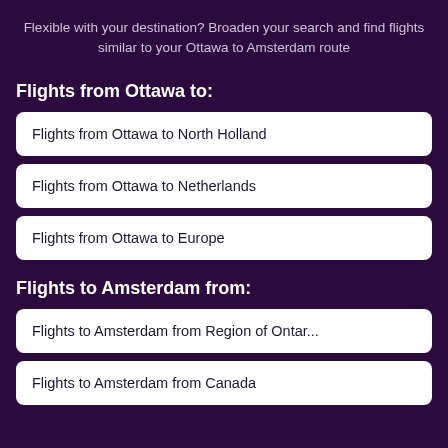Flexible with your destination? Broaden your search and find flights similar to your Ottawa to Amsterdam route
Flights from Ottawa to:
Flights from Ottawa to North Holland
Flights from Ottawa to Netherlands
Flights from Ottawa to Europe
Flights to Amsterdam from:
Flights to Amsterdam from Region of Ontar...
Flights to Amsterdam from Canada